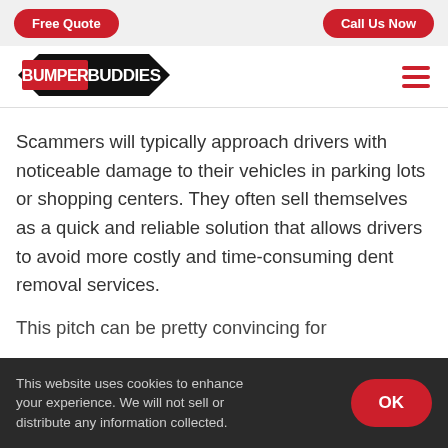Free Quote | Call Us Now
[Figure (logo): Bumper Buddies logo with red and black design]
Scammers will typically approach drivers with noticeable damage to their vehicles in parking lots or shopping centers. They often sell themselves as a quick and reliable solution that allows drivers to avoid more costly and time-consuming dent removal services.
This pitch can be pretty convincing for inexperienced
This website uses cookies to enhance your experience. We will not sell or distribute any information collected.